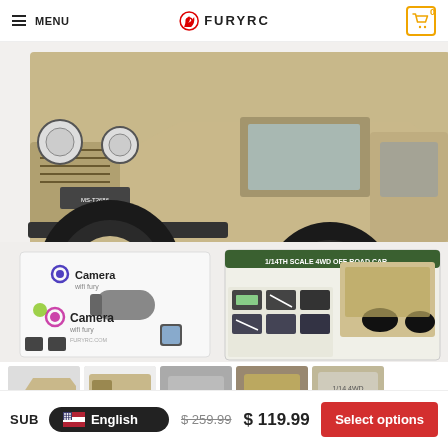MENU | FURYRC | Cart: 0
[Figure (photo): RC military jeep (1/14th scale 4WD off-road car) in tan/khaki color, close-up front/side view on white background, with camera accessory box and product box visible in lower half]
[Figure (photo): Thumbnail strip of 5 product images for the RC military jeep]
SUB | English | $ 259.99  $ 119.99 | Select options